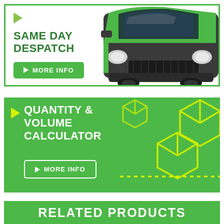[Figure (illustration): Banner with green delivery van and 'SAME DAY DESPATCH' heading with a MORE INFO button on green-bordered white background]
[Figure (illustration): Green banner with 'QUANTITY & VOLUME CALCULATOR' heading, MORE INFO button, and yellow-green 3D box/cube graphic on the right]
RELATED PRODUCTS